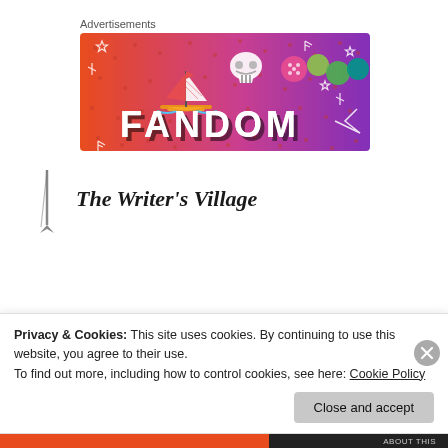Advertisements
[Figure (illustration): Fandom advertisement banner with gradient orange to purple background, featuring a sailboat, skull, dice, and the word FANDOM in bold 3D letters with white doodle decorations]
The Writer's Village
Privacy & Cookies: This site uses cookies. By continuing to use this website, you agree to their use.
To find out more, including how to control cookies, see here: Cookie Policy
Close and accept